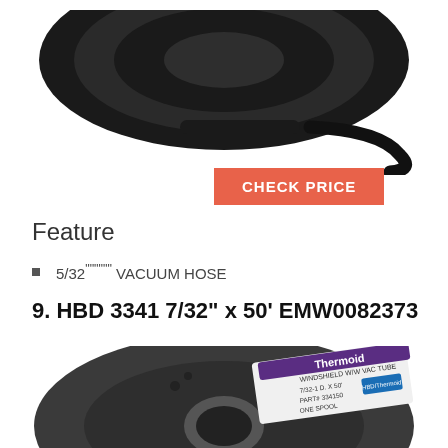[Figure (photo): Top portion of a black rubber vacuum hose spool/reel, showing the coiled hose from above, cropped at top of page.]
CHECK PRICE
Feature
5/32""""" VACUUM HOSE
9. HBD 3341 7/32" x 50' EMW0082373
[Figure (photo): Black circular spool/reel of Thermoid windshield vacuum hose, labeled WINDSHIELD W/W VAC TUBE 7/32-1 D. X 50', part number 334150, ONE SPOOL, with Thermoid brand label in purple and white.]